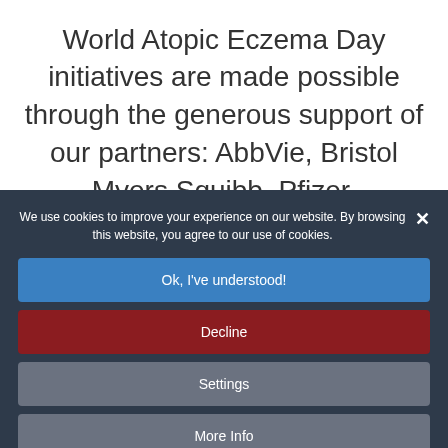World Atopic Eczema Day initiatives are made possible through the generous support of our partners: AbbVie, Bristol Myers Squibb, Pfizer,
We use cookies to improve your experience on our website. By browsing this website, you agree to our use of cookies.
Ok, I've understood!
Decline
Settings
More Info